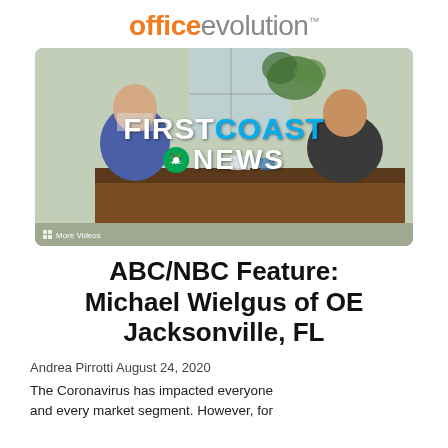office evolution
[Figure (screenshot): Video thumbnail showing a news interview at an office reception desk with First Coast News (ABC/NBC) logo overlay. Two men are seated across a desk; one wears a blue shirt and mask, the other wears a dark shirt. A plant is visible in the background. A 'More Videos' label appears at the bottom left.]
ABC/NBC Feature: Michael Wielgus of OE Jacksonville, FL
Andrea Pirrotti August 24, 2020
The Coronavirus has impacted everyone and every market segment. However, for